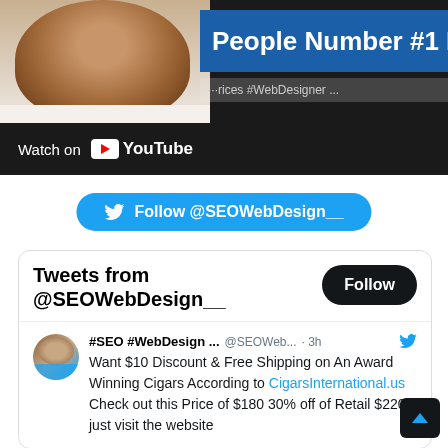[Figure (screenshot): YouTube video thumbnail showing a man with a beard wearing a white shirt, a blue banner reading 'People Number #1 R' (truncated), subtitle text '#...rices #WebDesigner ...' and a Watch on YouTube bar at the bottom]
[Figure (screenshot): Twitter Follow @SEOWebDesign__ button in blue rounded pill style with Twitter bird icon]
[Figure (screenshot): Twitter widget showing 'Tweets from @SEOWebDesign__' header with Follow button, and a tweet from #SEO #WebDesign ... @SEOWeb... 3h: Want $10 Discount & Free Shipping on An Award Winning Cigars According to CigarsInternational.us Check out this Price of $180 30% off of Retail $220 just visit the website]